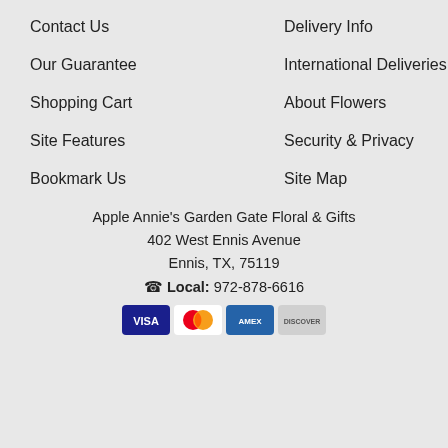Contact Us
Delivery Info
Our Guarantee
International Deliveries
Shopping Cart
About Flowers
Site Features
Security & Privacy
Bookmark Us
Site Map
Apple Annie's Garden Gate Floral & Gifts
402 West Ennis Avenue
Ennis, TX, 75119
☎ Local: 972-878-6616
[Figure (other): Payment method card icons: Visa, Mastercard, American Express, Discover]